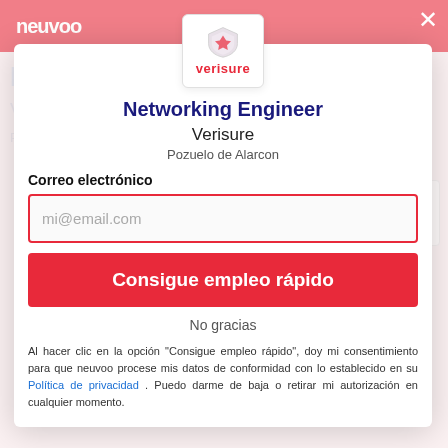[Figure (screenshot): Neuvoo job application modal overlay on top of a blurred job listing page for Networking Engineer at Verisure, Pozuelo de Alarcon. Modal contains Verisure logo, job title, email input field, apply button, no thanks link, and consent text.]
Networking Engineer
Verisure
Pozuelo de Alarcon
Correo electrónico
mi@email.com
Consigue empleo rápido
No gracias
Al hacer clic en la opción "Consigue empleo rápido", doy mi consentimiento para que neuvoo procese mis datos de conformidad con lo establecido en su Política de privacidad . Puedo darme de baja o retirar mi autorización en cualquier momento.